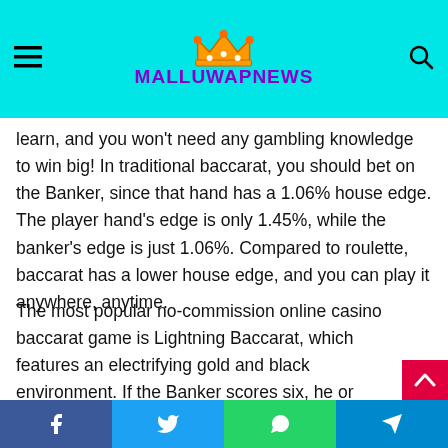MALLUWAPNEWS
learn, and you won't need any gambling knowledge to win big! In traditional baccarat, you should bet on the Banker, since that hand has a 1.06% house edge. The player hand's edge is only 1.45%, while the banker's edge is just 1.06%. Compared to roulette, baccarat has a lower house edge, and you can play it anywhere, anytime.
The most popular no-commission online casino baccarat game is Lightning Baccarat, which features an electrifying gold and black environment. If the Banker scores six, he or she wins half of the original bet. The Super 6 insurance side bet adds to the excitement. The banker wins 15:1 when it scores six, and the player wins half of the original bet.
Facebook | Twitter | WhatsApp | Telegram